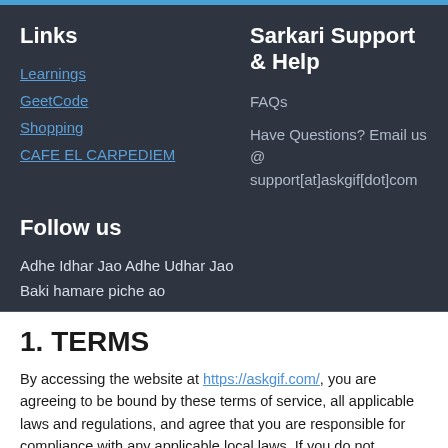Links
Learnings
GeetCode
Shopping
CAFE EL CARPEDIEM
Sarkari Support & Help
FAQs
Have Questions? Email us @ support[at]askgif[dot]com
Follow us
Adhe Idhar Jao Adhe Udhar Jao
Baki hamare piche ao
1. TERMS
By accessing the website at https://askgif.com/, you are agreeing to be bound by these terms of service, all applicable laws and regulations, and agree that you are responsible for compliance with any applicable local laws. If you do not